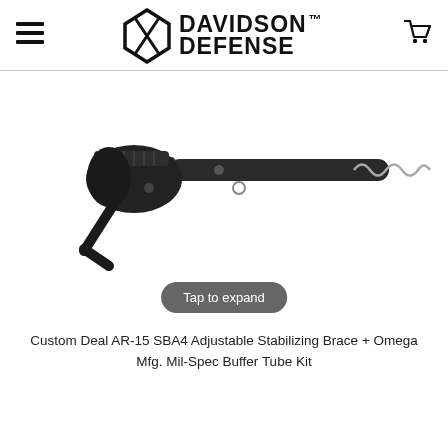Davidson Defense
[Figure (photo): AR-15 SBA4 Adjustable Stabilizing Brace with Omega Mfg. Mil-Spec Buffer Tube Kit product photo on white background, showing the brace/stock assembly with buffer tube and spring]
Tap to expand
Custom Deal AR-15 SBA4 Adjustable Stabilizing Brace + Omega Mfg. Mil-Spec Buffer Tube Kit